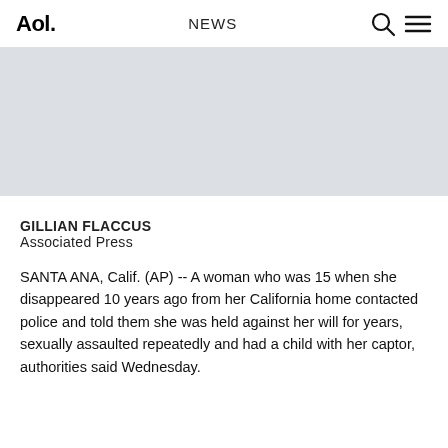Aol. NEWS
[Figure (photo): Gray placeholder image area at top of article]
GILLIAN FLACCUS
Associated Press
SANTA ANA, Calif. (AP) -- A woman who was 15 when she disappeared 10 years ago from her California home contacted police and told them she was held against her will for years, sexually assaulted repeatedly and had a child with her captor, authorities said Wednesday.